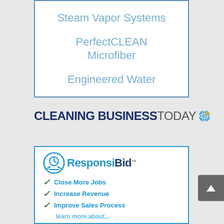Steam Vapor Systems
PerfectCLEAN Microfiber
Engineered Water
[Figure (logo): Cleaning Business Today logo with globe icon]
[Figure (infographic): ResponsiBid advertisement box with logo and checkmark list items: Close More Jobs, Increase Revenue, Improve Sales Process]
Close More Jobs
Increase Revenue
Improve Sales Process